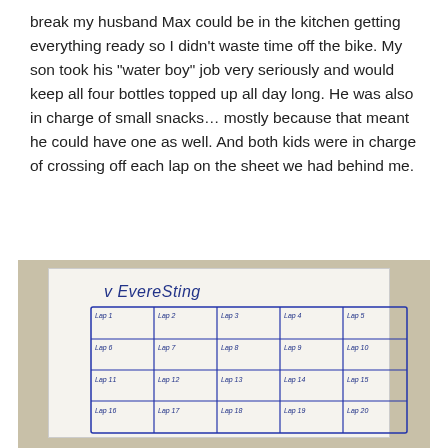break my husband Max could be in the kitchen getting everything ready so I didn't waste time off the bike. My son took his "water boy" job very seriously and would keep all four bottles topped up all day long. He was also in charge of small snacks… mostly because that meant he could have one as well. And both kids were in charge of crossing off each lap on the sheet we had behind me.
[Figure (photo): Photograph of a hand-drawn lap tracking sheet on white paper titled 'v EvereSting' with a grid of 20 laps (Lap 1 through Lap 20) drawn in blue pen, partially visible and cropped at the bottom.]